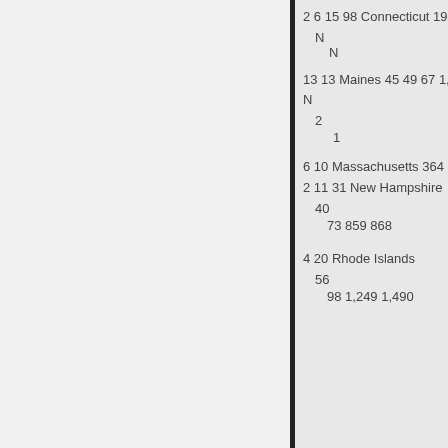| 2 6 15 98 Connecticut 195 210 |
| N |
| N |
| 13 13 Maines 45 49 67 1,091 |
| N |
| 2 |
| 1 |
| 6 10 Massachusetts 364 311 6 |
| 2 11 31 New Hampshire |
| 40 |
| 73 859 868 |
| 4 20 Rhode Islands |
| 56 |
| 98 1,249 1,490 |